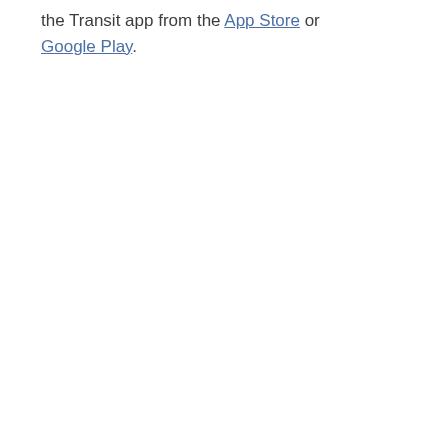the Transit app from the App Store or Google Play.